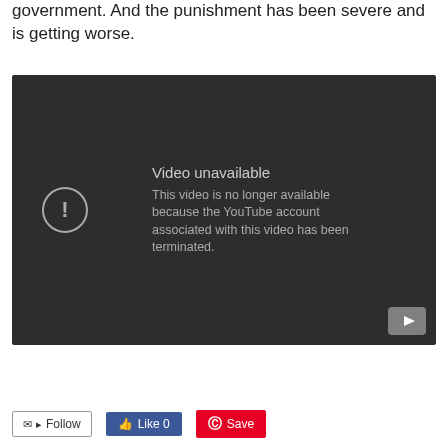government. And the punishment has been severe and is getting worse.
[Figure (screenshot): YouTube video embed showing 'Video unavailable' error message. Dark background with circle exclamation icon and text: 'This video is no longer available because the YouTube account associated with this video has been terminated.' YouTube play button icon in bottom right corner.]
[Figure (other): Social sharing bar with Follow button (email/RSS icons), Like 0 button (Facebook blue), and Save button (Pinterest red).]